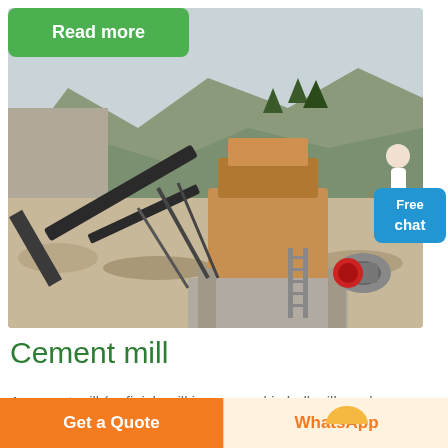Read more
[Figure (photo): Quarry mining site with conveyor belts, crushing machinery, and mountains in background]
Free chat
Cement mill
A cement mill (or finish mill in   ground in ball mills   also
Get a Quote
WhatsApp